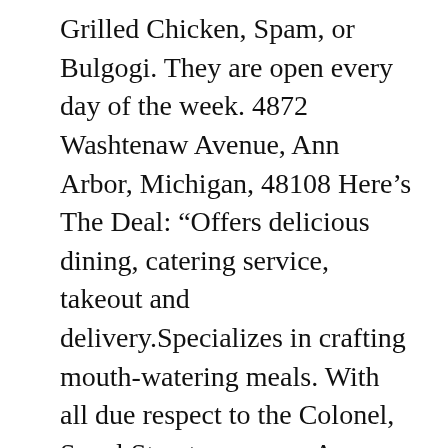Grilled Chicken, Spam, or Bulgogi. They are open every day of the week. 4872 Washtenaw Avenue, Ann Arbor, Michigan, 48108 Here's The Deal: "Offers delicious dining, catering service, takeout and delivery.Specializes in crafting mouth-watering meals. With all due respect to the Colonel, Seoul Street serves up Ann Arbor's best KFC — Korean fried chicken. Can't go wrong. Plymouth, MI 48170 Always fast and always great. I havent been able to sample everything on the menu because they have had" more, "Our doors are open to serve you at our Ann Arbor location. And YES, the fries are a moat with your meal, and the truffle fries are extra delish! Adding a business to Yelp is always free. House BBQ sauce was funky tasting